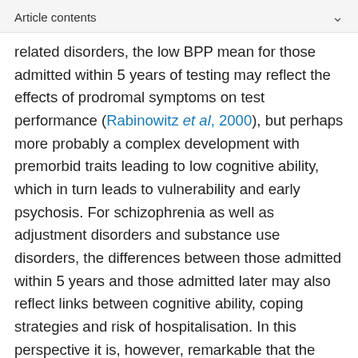Article contents
related disorders, the low BPP mean for those admitted within 5 years of testing may reflect the effects of prodromal symptoms on test performance (Rabinowitz et al, 2000), but perhaps more probably a complex development with premorbid traits leading to low cognitive ability, which in turn leads to vulnerability and early psychosis. For schizophrenia as well as adjustment disorders and substance use disorders, the differences between those admitted within 5 years and those admitted later may also reflect links between cognitive ability, coping strategies and risk of hospitalisation. In this perspective it is, however, remarkable that the difference between early and late admission is relatively small for alcohol-related disorders, suggesting that the association between low IQ and alcohol-related disorders is not entirely